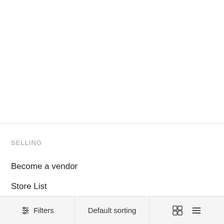SELLING
Become a vendor
Store List
Filters   Default sorting